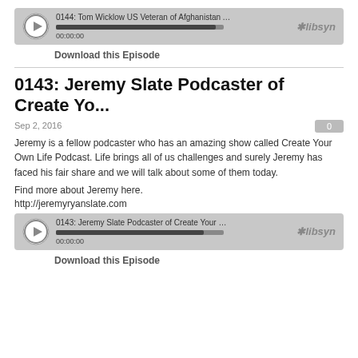[Figure (other): Audio player widget for episode 0144: Tom Wicklow US Veteran of Afghanistan Adapting t... with libsyn branding, play button, progress bar, and 00:00:00 timestamp]
Download this Episode
0143: Jeremy Slate Podcaster of Create Yo...
Sep 2, 2016
Jeremy is a fellow podcaster who has an amazing show called Create Your Own Life Podcast. Life brings all of us challenges and surely Jeremy has faced his fair share and we will talk about some of them today.
Find more about Jeremy here.
http://jeremyryanslate.com
[Figure (other): Audio player widget for episode 0143: Jeremy Slate Podcaster of Create Your Own Life* with libsyn branding, play button, progress bar, and 00:00:00 timestamp]
Download this Episode